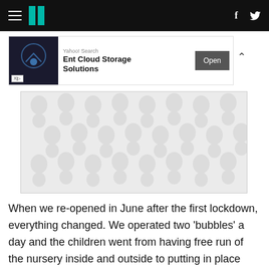HuffPost UK — navigation bar with hamburger menu, logo, Facebook and Twitter icons
[Figure (screenshot): Advertisement banner: Yahoo! Search — Ent Cloud Storage Solutions, with Open button]
[Figure (illustration): Decorative pattern with grey bubble/dot shapes on light background]
When we re-opened in June after the first lockdown, everything changed. We operated two 'bubbles' a day and the children went from having free run of the nursery inside and outside to putting in place dedicated Covid regulations. We doubled up our cleaning (even sanitising the bottom of children's shoes when they entered the